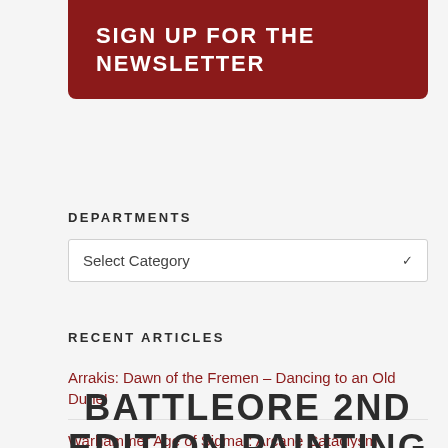SIGN UP FOR THE NEWSLETTER
DEPARTMENTS
Select Category
RECENT ARTICLES
Arrakis: Dawn of the Fremen – Dancing to an Old Dune!
Warhammer Age of Sigmar: Arcane Cataclysm
Necromunda: Last Wasterel
Mutant Chronicles: Siege of the Citadel Battle
BATTLEORE 2ND EDITION PAINTING